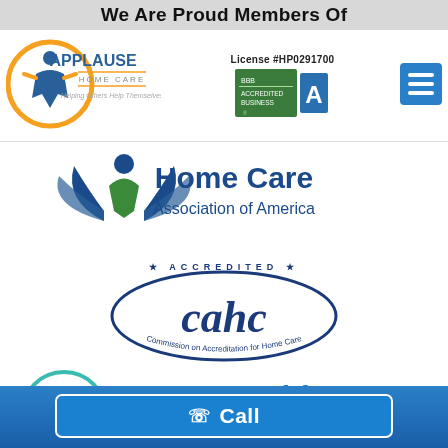We Are Proud Members Of
[Figure (logo): Applause Home Care logo with orange circle figure, blue text APPLAUSE HOME CARE, tagline Helping Others Help Themselves]
[Figure (logo): BBB Accredited Business logo with grade A rating, License #HP0291700]
[Figure (logo): Hamburger menu icon (three horizontal lines) on blue background]
[Figure (logo): Home Care Association of America logo with blue and green figure/wings icon and text Home Care Association of America]
[Figure (logo): CAHC Accredited logo - Commission on Accreditation for Home Care, navy blue oval with cahc text and stars]
[Figure (logo): Home Health Services Association of New Jersey logo with teal circle house icon]
Home
Call